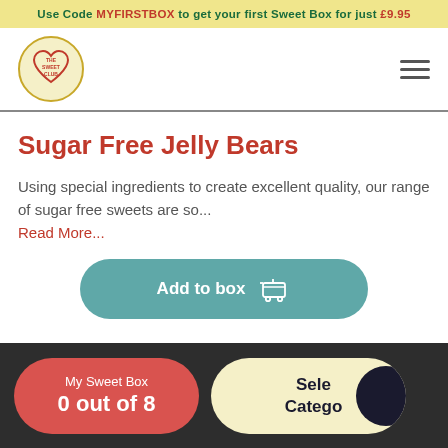Use Code MYFIRSTBOX to get your first Sweet Box for just £9.95
[Figure (logo): The Sweet Club logo — circular badge with heart shape, red text reading THE SWEET CLUB]
Sugar Free Jelly Bears
Using special ingredients to create excellent quality, our range of sugar free sweets are so...
Read More...
Add to box
My Sweet Box 0 out of 8 | Select Category